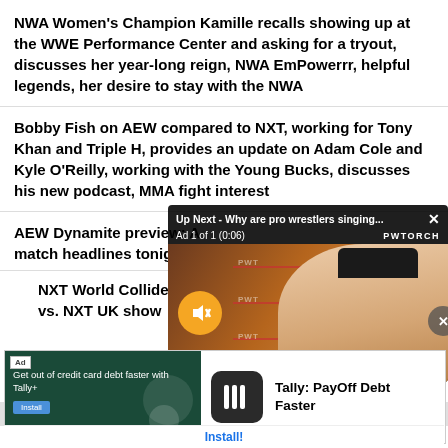NWA Women's Champion Kamille recalls showing up at the WWE Performance Center and asking for a tryout, discusses her year-long reign, NWA EmPowerrr, helpful legends, her desire to stay with the NWA
Bobby Fish on AEW compared to NXT, working for Tony Khan and Triple H, provides an update on Adam Cole and Kyle O'Reilly, working with the Young Bucks, discusses his new podcast, MMA fight interest
AEW Dynamite preview: A match headlines tonight's
NXT World Collide lineup vs. NXT UK show
[Figure (screenshot): Video ad overlay: 'Up Next - Why are pro wrestlers singing...' with close button X, showing Ad 1 of 1 (0:06), PWTORCH branding, muted video of a man in a black cap in a wrestling ring setting]
[Figure (screenshot): Ad banner: 'Get out of credit card debt faster with Tally+' ad on left with dark green background, Tally app icon and 'Tally: PayOff Debt Faster' on right, with Install! button at bottom]